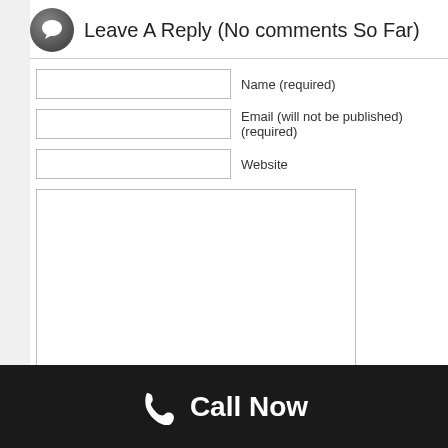Leave A Reply (No comments So Far)
Name (required)
Email (will not be published) (required)
Website
Submit Comment
Call Now